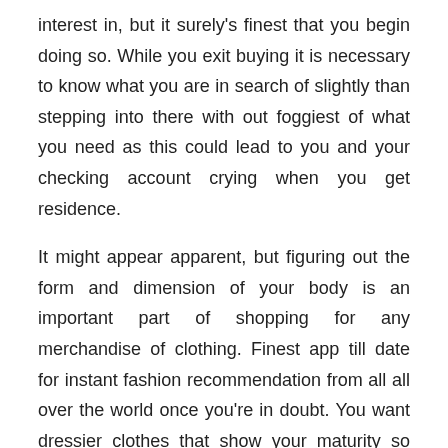interest in, but it surely's finest that you begin doing so. While you exit buying it is necessary to know what you are in search of slightly than stepping into there with out foggiest of what you need as this could lead to you and your checking account crying when you get residence.
It might appear apparent, but figuring out the form and dimension of your body is an important part of shopping for any merchandise of clothing. Finest app till date for instant fashion recommendation from all all over the world once you're in doubt. You want dressier clothes that show your maturity so you'll gain the respect and belief of everybody (older and youthful).
However, you actually do not want the Echo Look to get this kind of immediate fashion recommendation from Amazon. Go for a costume with an outlined waist and just-above-the-knee hem. Something less than four objects doesn't count as an outfit. Gown